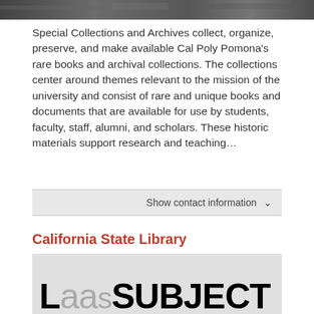[Figure (photo): Partial photo strip at top of page showing a black and white or muted photograph, cropped to a thin horizontal band]
Special Collections and Archives collect, organize, preserve, and make available Cal Poly Pomona's rare books and archival collections. The collections center around themes relevant to the mission of the university and consist of rare and unique books and documents that are available for use by students, faculty, staff, alumni, and scholars. These historic materials support research and teaching...
Show contact information ∨
California State Library
[Figure (logo): California State Library LaasSUBJECT logo on a light gray background, showing large bold text starting with 'L' followed by 'aas' in gray lighter weight and 'SUBJECT' in black bold]